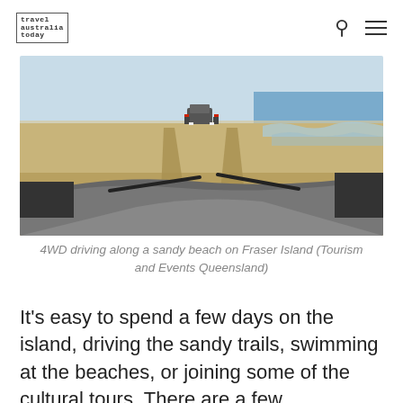travel australia today
[Figure (photo): View from inside a 4WD vehicle driving along a wide sandy beach on Fraser Island, with another vehicle visible ahead leaving tyre tracks, ocean waves visible to the right]
4WD driving along a sandy beach on Fraser Island (Tourism and Events Queensland)
It's easy to spend a few days on the island, driving the sandy trails, swimming at the beaches, or joining some of the cultural tours. There are a few accommodation options, and it's also a popular location for camping.